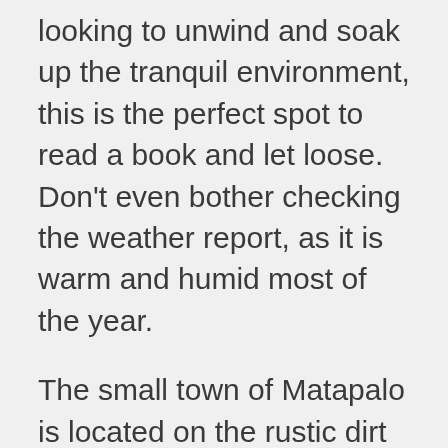looking to unwind and soak up the tranquil environment, this is the perfect spot to read a book and let loose. Don't even bother checking the weather report, as it is warm and humid most of the year.
The small town of Matapalo is located on the rustic dirt road which connects Quepos and Dominical. There are two smaller villages surrounding Matapalo as well— Savegre to the north and Hatillo to the south. Beyond Hatillo sits the National Wildlife Refuge of Hacienda Barú and Uvita. To the north, you can visit Quepos and the world famous Manuel Antonio National Park.